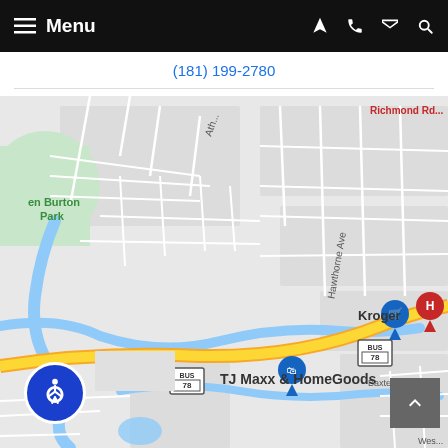Menu (navigation bar with hamburger icon, location, phone, email, search icons)
(181) 199-2780
[Figure (map): Google Maps screenshot showing area around Athens, GA with landmarks including en Burton Park, Hawthorne Ave, BUS 78 highway markers, Kroger, TJ Maxx & HomeGoods, Baxter St, and a river winding through the area. Red and blue map pin markers visible.]